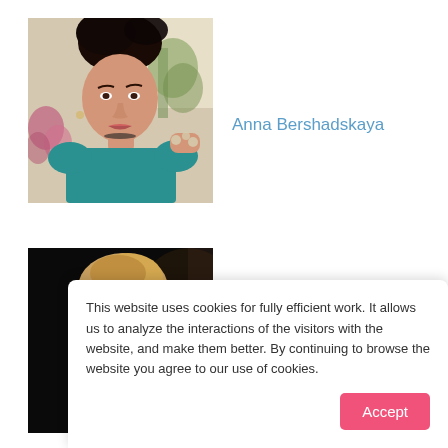[Figure (photo): Portrait photo of a woman with dark hair wearing a teal top and jewelry, posed in a bright indoor setting]
Anna Bershadskaya
[Figure (photo): Close-up photo of a blonde woman with hair up, dark background, side profile]
This website uses cookies for fully efficient work. It allows us to analyze the interactions of the visitors with the website, and make them better. By continuing to browse the website you agree to our use of cookies.
Accept